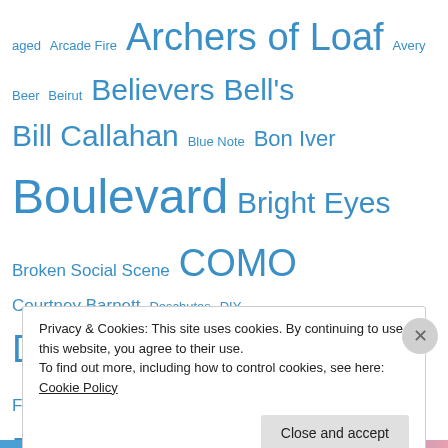aged Arcade Fire Archers of Loaf Avery Beer Beirut Believers Bell's Bill Callahan Blue Note Bon Iver Boulevard Bright Eyes Broken Social Scene COMO Courtney Barnett Deschutes DIY Dogfish Head Dubb Nubb Firestone Walker Fleet Foxes footnotes Founders Goose Island Guided By Voices hipster homebrewing Hopslam idiot box indie Jerusalem and the Starbaskets Joan of Arc Jolly Pumpkin Kathleen Hanna Let's Wrestle Matador Mikkeller Mojo's New Belgium Odell Oeuvre Ohio
Privacy & Cookies: This site uses cookies. By continuing to use this website, you agree to their use. To find out more, including how to control cookies, see here: Cookie Policy
Close and accept